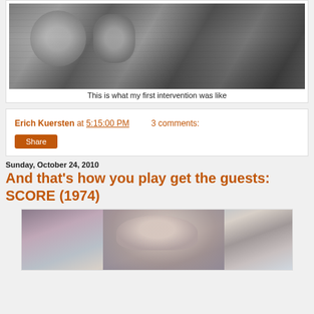[Figure (photo): Black and white photograph of people sitting in chairs, appears to be an old intervention scene]
This is what my first intervention was like
Erich Kuersten at 5:15:00 PM    3 comments:
Share
Sunday, October 24, 2010
And that's how you play get the guests: SCORE (1974)
[Figure (photo): Color photograph of a woman with dark hair looking upward with blue eyes]